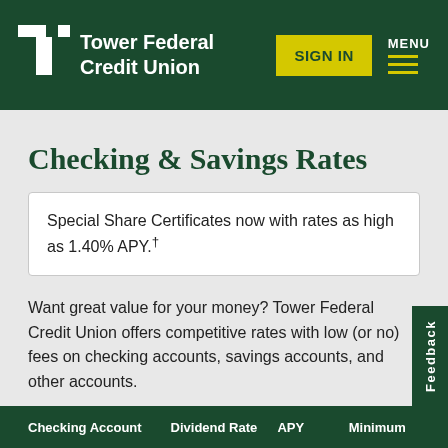Tower Federal Credit Union | SIGN IN | MENU
Checking & Savings Rates
Special Share Certificates now with rates as high as 1.40% APY.†
Want great value for your money? Tower Federal Credit Union offers competitive rates with low (or no) fees on checking accounts, savings accounts, and other accounts.
Free Checking Accounts
| Checking Account | Dividend Rate | APY | Minimum |
| --- | --- | --- | --- |